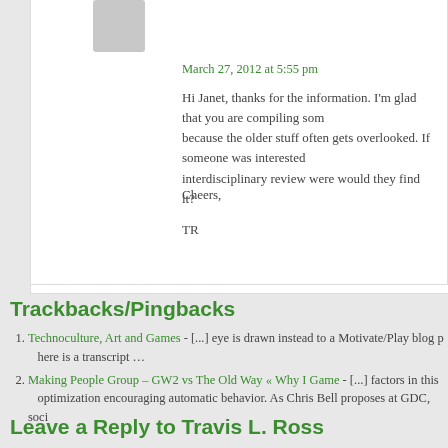[Figure (photo): Gray avatar placeholder image for commenter]
March 27, 2012 at 5:55 pm
Hi Janet, thanks for the information. I'm glad that you are compiling some of this together because the older stuff often gets overlooked. If someone was interested in reading the interdisciplinary review were would they find it?
Cheers,
TR
Trackbacks/Pingbacks
Technoculture, Art and Games - [...] eye is drawn instead to a Motivate/Play blog p here is a transcript …
Making People Group – GW2 vs The Old Way « Why I Game - [...] factors in this optimization encouraging automatic behavior. As Chris Bell proposes at GDC, soci
Leave a Reply to Travis L. Ross